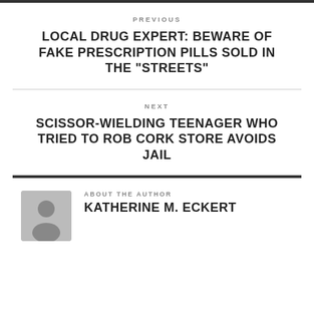PREVIOUS
LOCAL DRUG EXPERT: BEWARE OF FAKE PRESCRIPTION PILLS SOLD IN THE "STREETS"
NEXT
SCISSOR-WIELDING TEENAGER WHO TRIED TO ROB CORK STORE AVOIDS JAIL
ABOUT THE AUTHOR
KATHERINE M. ECKERT